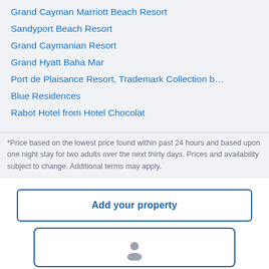Grand Cayman Marriott Beach Resort
Sandyport Beach Resort
Grand Caymanian Resort
Grand Hyatt Baha Mar
Port de Plaisance Resort, Trademark Collection b…
Blue Residences
Rabot Hotel from Hotel Chocolat
*Price based on the lowest price found within past 24 hours and based upon one night stay for two adults over the next thirty days. Prices and availability subject to change. Additional terms may apply.
Add your property